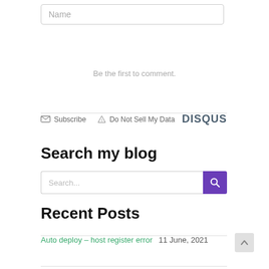Name
Be the first to comment.
Subscribe  Do Not Sell My Data   DISQUS
Search my blog
Search...
Recent Posts
Auto deploy – host register error  11 June, 2021